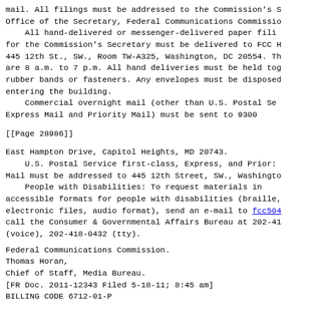mail. All filings must be addressed to the Commission's Office of the Secretary, Federal Communications Commission.
    All hand-delivered or messenger-delivered paper filings for the Commission's Secretary must be delivered to FCC Headquarters, 445 12th St., SW., Room TW-A325, Washington, DC 20554. The hours are 8 a.m. to 7 p.m. All hand deliveries must be held together with rubber bands or fasteners. Any envelopes must be disposed of before entering the building.
    Commercial overnight mail (other than U.S. Postal Service Express Mail and Priority Mail) must be sent to 9300
[[Page 28986]]
East Hampton Drive, Capitol Heights, MD 20743.
    U.S. Postal Service first-class, Express, and Priority Mail must be addressed to 445 12th Street, SW., Washington.
    People with Disabilities: To request materials in accessible formats for people with disabilities (braille, electronic files, audio format), send an e-mail to fcc504@fcc.gov or call the Consumer & Governmental Affairs Bureau at 202-418-0530 (voice), 202-418-0432 (tty).
Federal Communications Commission.
Thomas Horan,
Chief of Staff, Media Bureau.
[FR Doc. 2011-12343 Filed 5-18-11; 8:45 am]
BILLING CODE 6712-01-P